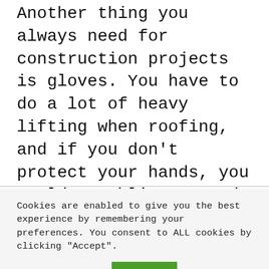Another thing you always need for construction projects is gloves. You have to do a lot of heavy lifting when roofing, and if you don't protect your hands, you could get blisters and cuts. To avoid this, always wear gloves before going on the roof to start working.
Boots
You need a good pair of shoes for roofing.
Cookies are enabled to give you the best experience by remembering your preferences. You consent to ALL cookies by clicking "Accept".
Cookie settings   ACCEPT